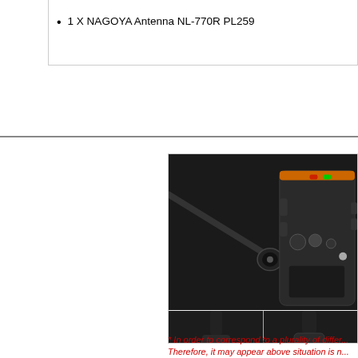1 X NAGOYA Antenna NL-770R PL259
[Figure (photo): Product photos showing NAGOYA NL-770R PL259 antenna connector and radio attachment. Top image shows a radio handset with the antenna cable connector. Bottom left and bottom right images show close-up views of the antenna base connection point on a radio, with red oval highlights indicating the connection area.]
* In order to correspond to a plurality of differ... Therefore, it may appear above situation is n...